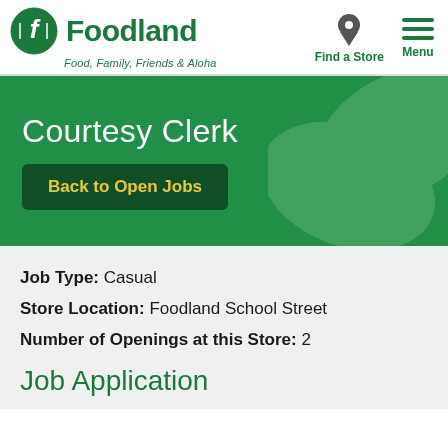Foodland — Food, Family, Friends & Aloha | Find a Store | Menu
Courtesy Clerk
Back to Open Jobs
Job Type: Casual
Store Location: Foodland School Street
Number of Openings at this Store: 2
Job Application